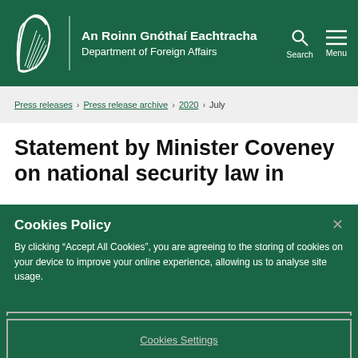An Roinn Gnóthaí Eachtracha Department of Foreign Affairs
Press releases > Press release archive > 2020 > July
Statement by Minister Coveney on national security law in
Cookies Policy
By clicking "Accept All Cookies", you are agreeing to the storing of cookies on your device to improve your online experience, allowing us to analyse site usage.
Cookies Settings
Reject All Optional Cookies